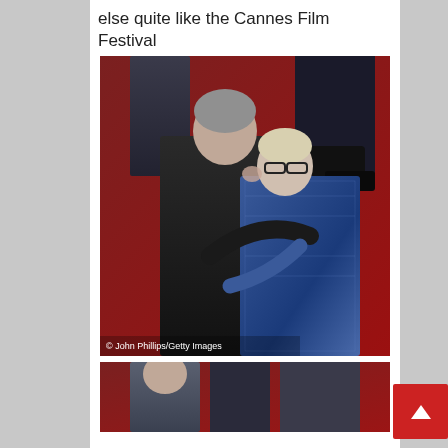else quite like the Cannes Film Festival
[Figure (photo): Two people kissing on a red carpet. One person in a dark suit with grey hair, the other wearing glasses and a blue sequined/metallic dress. Photo credit: © John Phillips/Getty Images]
[Figure (photo): Partial view of second photo showing people at what appears to be a red carpet event, cropped at bottom of page]